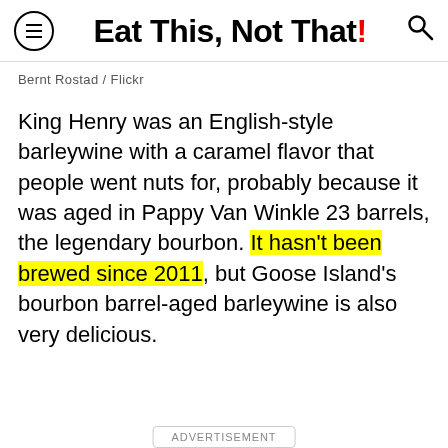Eat This, Not That!
Bernt Rostad / Flickr
King Henry was an English-style barleywine with a caramel flavor that people went nuts for, probably because it was aged in Pappy Van Winkle 23 barrels, the legendary bourbon. It hasn't been brewed since 2011, but Goose Island's bourbon barrel-aged barleywine is also very delicious.
ADVERTISEMENT